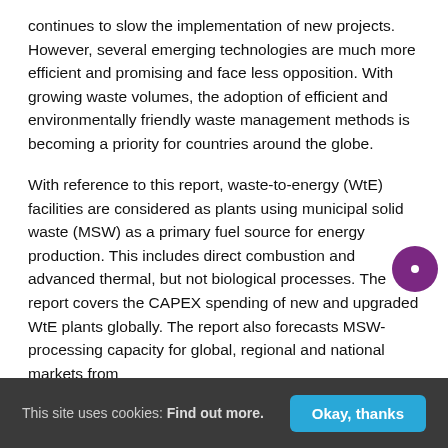continues to slow the implementation of new projects. However, several emerging technologies are much more efficient and promising and face less opposition. With growing waste volumes, the adoption of efficient and environmentally friendly waste management methods is becoming a priority for countries around the globe.
With reference to this report, waste-to-energy (WtE) facilities are considered as plants using municipal solid waste (MSW) as a primary fuel source for energy production. This includes direct combustion and advanced thermal, but not biological processes. The report covers the CAPEX spending of new and upgraded WtE plants globally. The report also forecasts MSW-processing capacity for global, regional and national markets from
This site uses cookies: Find out more.   Okay, thanks